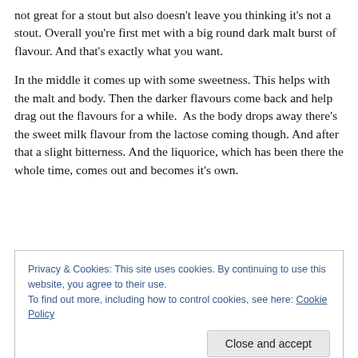not great for a stout but also doesn't leave you thinking it's not a stout. Overall you're first met with a big round dark malt burst of flavour. And that's exactly what you want.
In the middle it comes up with some sweetness. This helps with the malt and body. Then the darker flavours come back and help drag out the flavours for a while.  As the body drops away there's the sweet milk flavour from the lactose coming though. And after that a slight bitterness. And the liquorice, which has been there the whole time, comes out and becomes it's own.
Privacy & Cookies: This site uses cookies. By continuing to use this website, you agree to their use.
To find out more, including how to control cookies, see here: Cookie Policy